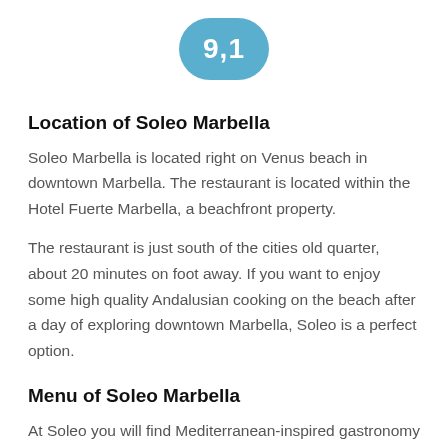[Figure (other): Score badge showing 9,1 in a blue rounded rectangle]
Location of Soleo Marbella
Soleo Marbella is located right on Venus beach in downtown Marbella. The restaurant is located within the Hotel Fuerte Marbella, a beachfront property.
The restaurant is just south of the cities old quarter, about 20 minutes on foot away. If you want to enjoy some high quality Andalusian cooking on the beach after a day of exploring downtown Marbella, Soleo is a perfect option.
Menu of Soleo Marbella
At Soleo you will find Mediterranean-inspired gastronomy with some light touches of fusion.  You